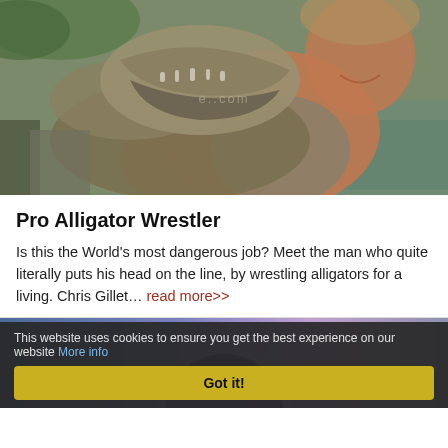[Figure (photo): Man wrestling/holding a large alligator with open jaws, outdoors near water. Watermark text visible in center of image.]
Pro Alligator Wrestler
Is this the World's most dangerous job? Meet the man who quite literally puts his head on the line, by wrestling alligators for a living. Chris Gillet... read more>>
[Figure (photo): Bottom portion of webpage showing a celestial/planet image with blue-purple gradient sky background.]
This website uses cookies to ensure you get the best experience on our website More info
Got it!